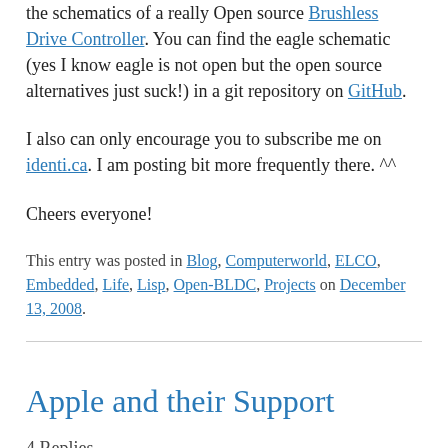the schematics of a really Open source Brushless Drive Controller. You can find the eagle schematic (yes I know eagle is not open but the open source alternatives just suck!) in a git repository on GitHub.
I also can only encourage you to subscribe me on identi.ca. I am posting bit more frequently there. ^^
Cheers everyone!
This entry was posted in Blog, Computerworld, ELCO, Embedded, Life, Lisp, Open-BLDC, Projects on December 13, 2008.
Apple and their Support
4 Replies